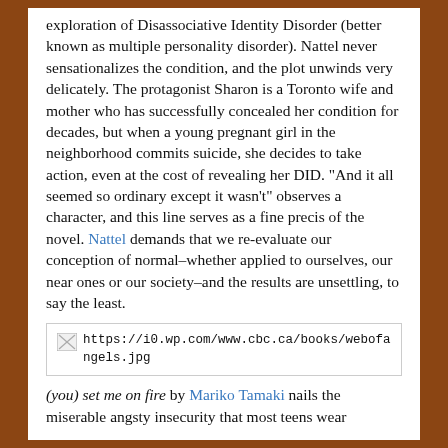exploration of Disassociative Identity Disorder (better known as multiple personality disorder). Nattel never sensationalizes the condition, and the plot unwinds very delicately. The protagonist Sharon is a Toronto wife and mother who has successfully concealed her condition for decades, but when a young pregnant girl in the neighborhood commits suicide, she decides to take action, even at the cost of revealing her DID. "And it all seemed so ordinary except it wasn't" observes a character, and this line serves as a fine precis of the novel. Nattel demands that we re-evaluate our conception of normal–whether applied to ourselves, our near ones or our society–and the results are unsettling, to say the least.
[Figure (photo): Broken image placeholder with URL: https://i0.wp.com/www.cbc.ca/books/webofangels.jpg]
(you) set me on fire by Mariko Tamaki nails the miserable angsty insecurity that most teens wear